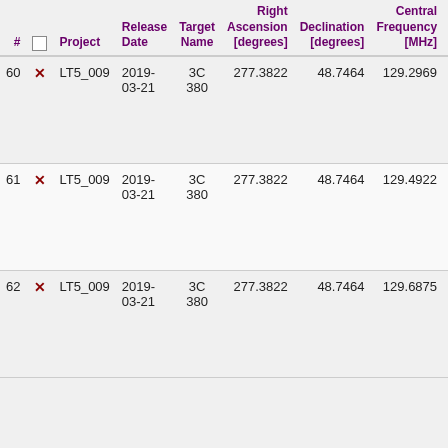| # |  | Project | Release Date | Target Name | Right Ascension [degrees] | Declination [degrees] | Central Frequency [MHz] | Ch Wi... |
| --- | --- | --- | --- | --- | --- | --- | --- | --- |
| 60 | × | LT5_009 | 2019-03-21 | 3C 380 | 277.3822 | 48.7464 | 129.2969 | 122... |
| 61 | × | LT5_009 | 2019-03-21 | 3C 380 | 277.3822 | 48.7464 | 129.4922 | 122... |
| 62 | × | LT5_009 | 2019-03-21 | 3C 380 | 277.3822 | 48.7464 | 129.6875 | 122... |